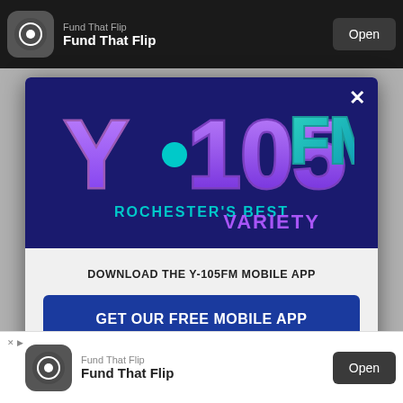[Figure (screenshot): A modal popup for Y-105FM radio station app download, overlaid on a mobile browser page showing a Fund That Flip advertisement. The modal has a dark navy blue header with the Y.105FM logo and 'Rochester's Best Variety' tagline, a close X button, and a white/light gray body with download call-to-action, a dark blue 'GET OUR FREE MOBILE APP' button, and 'Also listen on: amazon alexa' text with the Alexa ring icon. The background shows top and bottom Fund That Flip ad banners.]